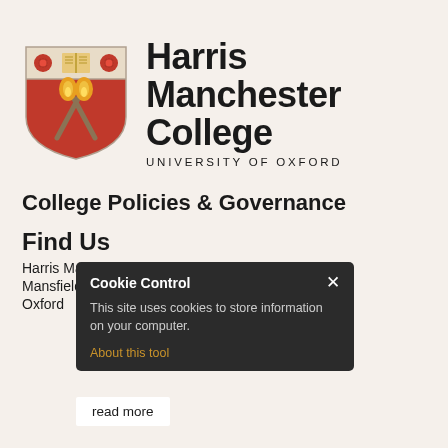[Figure (logo): Harris Manchester College, University of Oxford shield logo with red background, crossed torches in yellow, book and roses, alongside college name text]
College Policies & Governance
Find Us
Harris Manchester College
Mansfield Road
Oxford
[Figure (screenshot): Cookie Control popup overlay with title 'Cookie Control', close X button, text 'This site uses cookies to store information on your computer.', 'About this tool' link in orange, and 'read more' button]